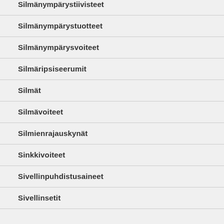Silmänympärystiivisteet
Silmänympärystuotteet
Silmänympärysvoiteet
Silmäripsiseerumit
Silmät
Silmävoiteet
Silmienrajauskynät
Sinkkivoiteet
Sivellinpuhdistusaineet
Sivellinsetit